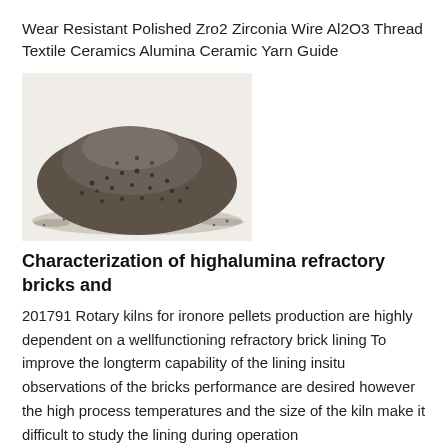Wear Resistant Polished Zro2 Zirconia Wire Al2O3 Thread Textile Ceramics Alumina Ceramic Yarn Guide
[Figure (photo): A pile of dark gray granular material (ceramic powder/grit) on a white background, forming a mound shape.]
Characterization of highalumina refractory bricks and
201791 Rotary kilns for ironore pellets production are highly dependent on a wellfunctioning refractory brick lining To improve the longterm capability of the lining insitu observations of the bricks performance are desired however the high process temperatures and the size of the kiln make it difficult to study the lining during operation